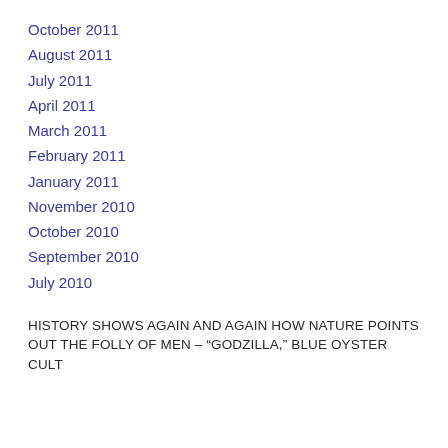October 2011
August 2011
July 2011
April 2011
March 2011
February 2011
January 2011
November 2010
October 2010
September 2010
July 2010
HISTORY SHOWS AGAIN AND AGAIN HOW NATURE POINTS OUT THE FOLLY OF MEN – “GODZILLA,” BLUE OYSTER CULT